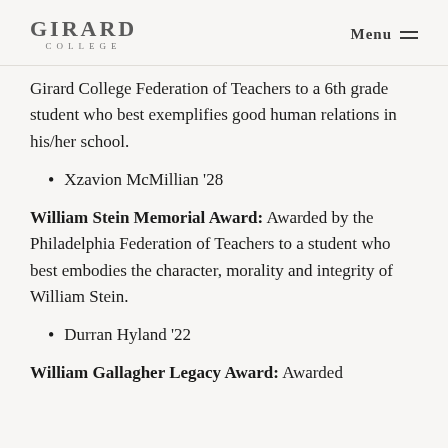GIRARD COLLEGE   Menu
Girard College Federation of Teachers to a 6th grade student who best exemplifies good human relations in his/her school.
Xzavion McMillian '28
William Stein Memorial Award: Awarded by the Philadelphia Federation of Teachers to a student who best embodies the character, morality and integrity of William Stein.
Durran Hyland '22
William Gallagher Legacy Award: Awarded